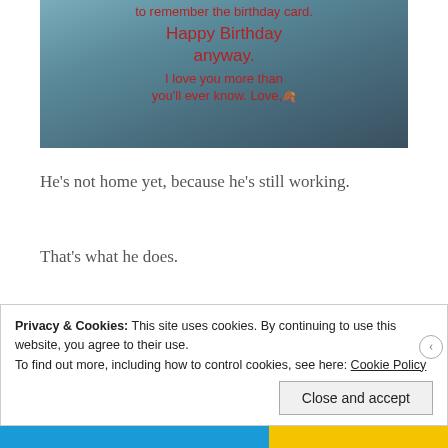[Figure (photo): Photo of a handwritten birthday card with red handwriting on light blue paper reading: 'to remember the birthday card. Happy Birthday anyway. I love you more than you'll ever know. Love,' with a signature]
He's not home yet, because he's still working.
That's what he does.
Privacy & Cookies: This site uses cookies. By continuing to use this website, you agree to their use. To find out more, including how to control cookies, see here: Cookie Policy
Close and accept